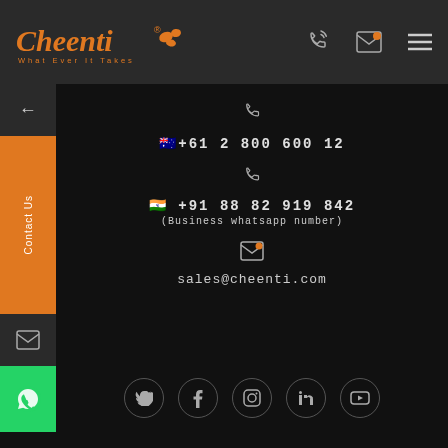Cheenti - What Ever It Takes
🇦🇺 +61 2 800 600 12
🇮🇳 +91 88 82 919 842
(Business whatsapp number)
sales@cheenti.com